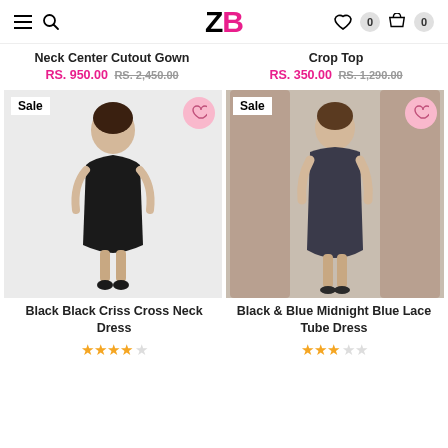ZB — navigation header with hamburger, search, wishlist (0), cart (0)
Neck Center Cutout Gown
RS. 950.00  RS. 2,450.00
Crop Top
RS. 350.00  RS. 1,290.00
[Figure (photo): Model wearing black criss cross neck mini dress, Sale badge, heart button]
[Figure (photo): Model wearing black & blue midnight blue lace tube dress, Sale badge, heart button]
Black Black Criss Cross Neck Dress
Black & Blue Midnight Blue Lace Tube Dress